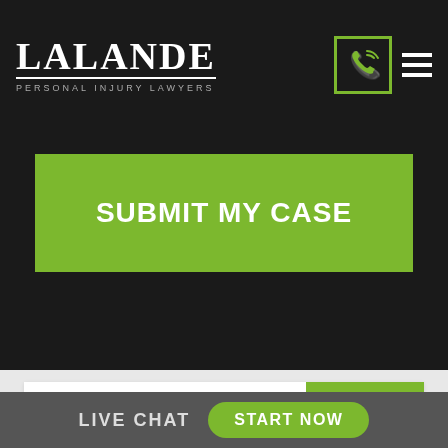LALANDE PERSONAL INJURY LAWYERS
SUBMIT MY CASE
Type here to search
SEARCH
LIVE CHAT
START NOW